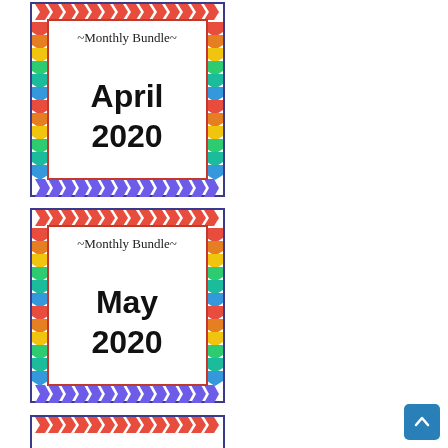[Figure (illustration): Monthly Bundle cover card for April 2020 with colorful chevron border pattern in red, orange, yellow, green, teal colors and purple/blue zigzag bottom border]
[Figure (illustration): Monthly Bundle cover card for May 2020 with colorful chevron border pattern in red, orange, yellow, green, teal colors and purple/blue zigzag bottom border]
[Figure (illustration): Partial Monthly Bundle cover card visible at bottom of page, showing only the top red chevron border]